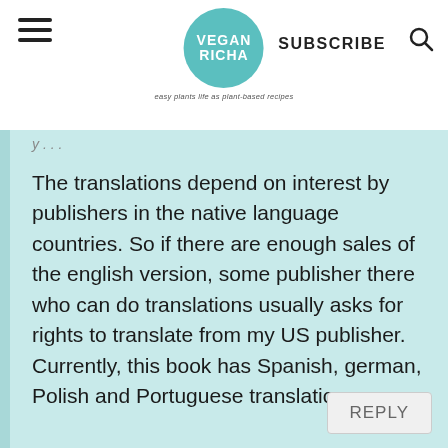[Figure (logo): Vegan Richa circular teal logo with text VEGAN RICHA and tagline below]
SUBSCRIBE
The translations depend on interest by publishers in the native language countries. So if there are enough sales of the english version, some publisher there who can do translations usually asks for rights to translate from my US publisher. Currently, this book has Spanish, german, Polish and Portuguese translations.